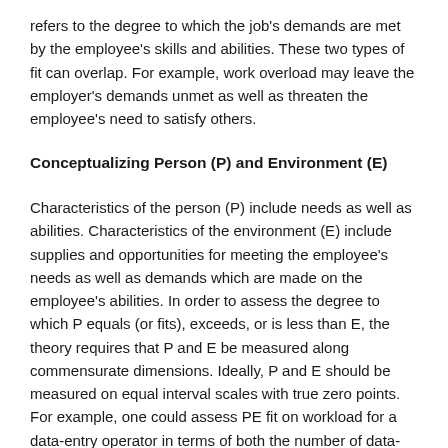refers to the degree to which the job's demands are met by the employee's skills and abilities. These two types of fit can overlap. For example, work overload may leave the employer's demands unmet as well as threaten the employee's need to satisfy others.
Conceptualizing Person (P) and Environment (E)
Characteristics of the person (P) include needs as well as abilities. Characteristics of the environment (E) include supplies and opportunities for meeting the employee's needs as well as demands which are made on the employee's abilities. In order to assess the degree to which P equals (or fits), exceeds, or is less than E, the theory requires that P and E be measured along commensurate dimensions. Ideally, P and E should be measured on equal interval scales with true zero points. For example, one could assess PE fit on workload for a data-entry operator in terms of both the number of data-entry keystrokes per minute demanded by the job (E) and the